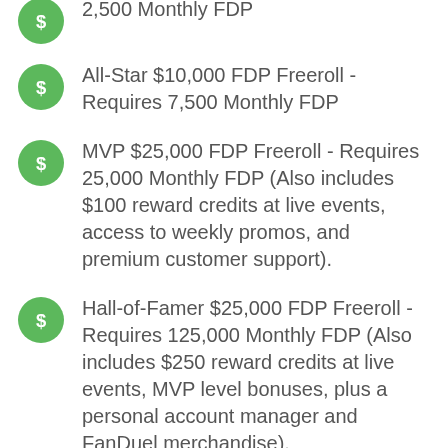2,500 Monthly FDP (partial, top of page)
All-Star $10,000 FDP Freeroll - Requires 7,500 Monthly FDP
MVP $25,000 FDP Freeroll - Requires 25,000 Monthly FDP (Also includes $100 reward credits at live events, access to weekly promos, and premium customer support).
Hall-of-Famer $25,000 FDP Freeroll - Requires 125,000 Monthly FDP (Also includes $250 reward credits at live events, MVP level bonuses, plus a personal account manager and FanDuel merchandise).
Legend $25,000 FDP Freeroll - Requires 2,500,000 Monthly FDP (Also includes $500 reward credits at